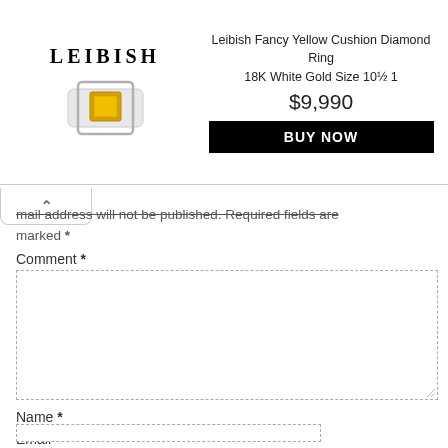[Figure (screenshot): Advertisement banner for Leibish Fancy Yellow Cushion Diamond Ring 18K White Gold Size 10½ 1, priced at $9,990 with a BUY NOW button. Shows LEIBISH logo on left and ring image.]
mail address will not be published. Required fields are marked *
Comment *
Name *
Email *